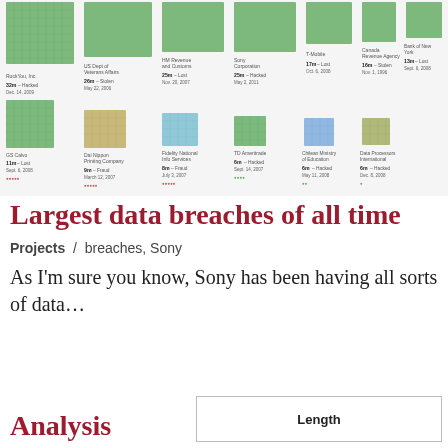[Figure (infographic): Visual infographic showing the largest data breaches of all time, with block/grid representations of breach sizes. Shows organizations including RockYou Inc., US Dept of Veterans Affairs, HM Revenue and Customs, Sony Corporation, T-Mobile, Canada Revenue Agency, Bank of New York, GS Calvo, Dai Nippon Printing Company, Fidelity National Info Services, TD Ameritrade, Chilean Ministry of Education, Data Processors International. Breach sizes range from 6m to 32m records, with dates and breach types (Hacked, Stolen, Lost, Fraud).]
Largest data breaches of all time
Projects / breaches, Sony
As I'm sure you know, Sony has been having all sorts of data...
Analysis
| Length |
| --- |